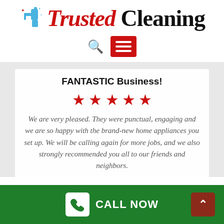[Figure (logo): Trusted Cleaning logo with spray bottle icon, 'Trusted' in red italic serif and 'Cleaning' in black serif]
[Figure (screenshot): Navigation bar with search icon and red hamburger menu button]
FANTASTIC Business!
[Figure (other): Five red star rating icons]
We are very pleased. They were punctual, engaging and we are so happy with the brand-new home appliances you set up. We will be calling again for more jobs, and we also strongly recommended you all to our friends and neighbors.
[Figure (other): Green footer bar with CALL NOW button (white phone icon) and dark red back-to-top arrow button]